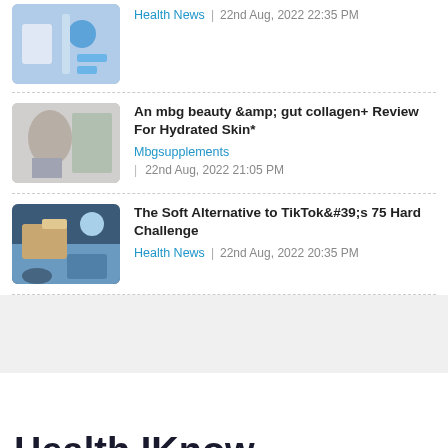Health News | 22nd Aug, 2022 22:35 PM
An mbg beauty &amp; gut collagen+ Review For Hydrated Skin* — Mbgsupplements | 22nd Aug, 2022 21:05 PM
The Soft Alternative to TikTok's 75 Hard Challenge — Health News | 22nd Aug, 2022 20:35 PM
Health IKnow